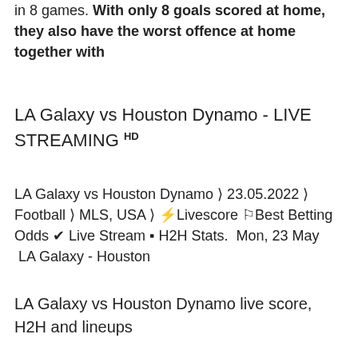in 8 games. With only 8 goals scored at home, they also have the worst offence at home together with
LA Galaxy vs Houston Dynamo - LIVE STREAMING HD
LA Galaxy vs Houston Dynamo ❯ 23.05.2022 ❯ Football ❯ MLS, USA ❯ ⚡Livescore 🏆Best Betting Odds ✔ Live Stream 🔴 H2H Stats.  Mon, 23 May  LA Galaxy - Houston
LA Galaxy vs Houston Dynamo live score, H2H and lineups
You can watch Los Angeles Galaxy vs Houston Dynamo live stream here on